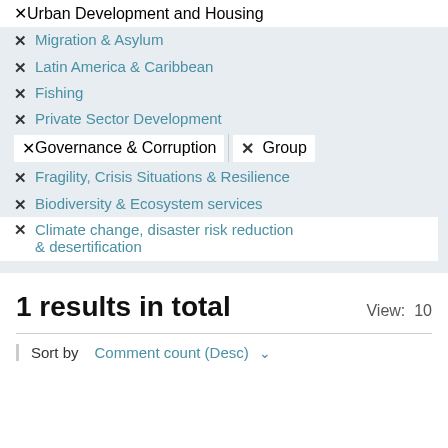✕ Urban Development and Housing
✕ Migration & Asylum
✕ Latin America & Caribbean
✕ Fishing
✕ Private Sector Development
✕ Governance & Corruption  ✕ Group
✕ Fragility, Crisis Situations & Resilience
✕ Biodiversity & Ecosystem services
✕ Climate change, disaster risk reduction & desertification
1 results in total
View: 10
Sort by  Comment count (Desc)